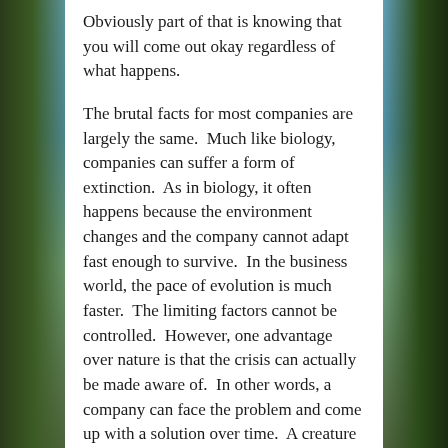Obviously part of that is knowing that you will come out okay regardless of what happens.
The brutal facts for most companies are largely the same. Much like biology, companies can suffer a form of extinction. As in biology, it often happens because the environment changes and the company cannot adapt fast enough to survive. In the business world, the pace of evolution is much faster. The limiting factors cannot be controlled. However, one advantage over nature is that the crisis can actually be made aware of. In other words, a company can face the problem and come up with a solution over time. A creature does not usually have this luxury. The bigger the animal, the more likely it will become extinct.